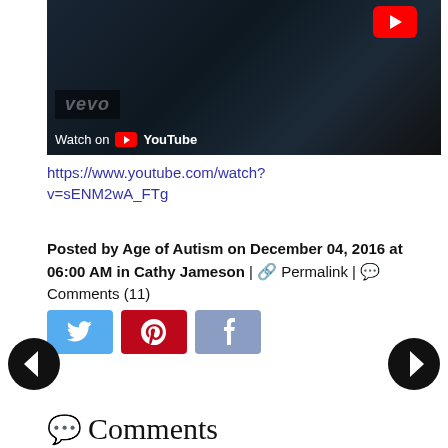[Figure (screenshot): YouTube video thumbnail showing a dark scene with a person in a leather jacket with necklace, Vevo watermark, 'Watch on YouTube' text, and a red YouTube play button in top right corner]
https://www.youtube.com/watch?v=sENM2wA_FTg
Posted by Age of Autism on December 04, 2016 at 06:00 AM in Cathy Jameson | 🔗 Permalink | 💬 Comments (11)
[Figure (other): Social share buttons: Twitter (blue), Pinterest (red), Facebook (muted blue)]
[Figure (other): Navigation arrow buttons: left back arrow and right forward arrow circles]
💬 Comments